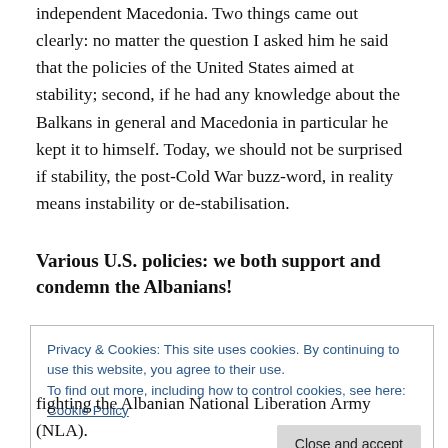independent Macedonia. Two things came out clearly: no matter the question I asked him he said that the policies of the United States aimed at stability; second, if he had any knowledge about the Balkans in general and Macedonia in particular he kept it to himself. Today, we should not be surprised if stability, the post-Cold War buzz-word, in reality means instability or de-stabilisation.
Various U.S. policies: we both support and condemn the Albanians!
Privacy & Cookies: This site uses cookies. By continuing to use this website, you agree to their use.
To find out more, including how to control cookies, see here: Cookie Policy
fighting the Albanian National Liberation Army (NLA).